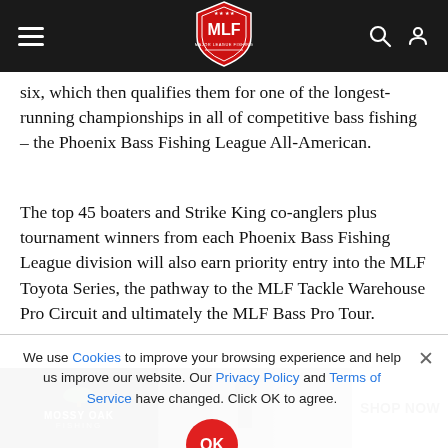MLF (Major League Fishing) navigation bar
six, which then qualifies them for one of the longest-running championships in all of competitive bass fishing – the Phoenix Bass Fishing League All-American.
The top 45 boaters and Strike King co-anglers plus tournament winners from each Phoenix Bass Fishing League division will also earn priority entry into the MLF Toyota Series, the pathway to the MLF Tackle Warehouse Pro Circuit and ultimately the MLF Bass Pro Tour.
We use Cookies to improve your browsing experience and help us improve our website. Our Privacy Policy and Terms of Service have changed. Click OK to agree.
[Figure (logo): Mossy Oak Fishing advertisement banner with angler and SHOP NOW text]